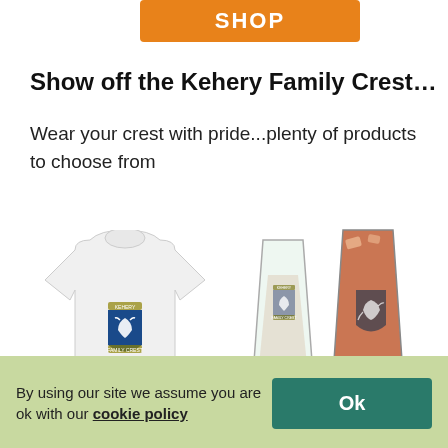[Figure (illustration): Orange SHOP button at top of page]
Show off the Kehery Family Crest…
Wear your crest with pride...plenty of products to choose from
[Figure (photo): White baby onesie with Kehery Family Crest (blue shield with white bird) printed on front]
[Figure (photo): Two drinking glasses with Kehery Family Crest, one clear with dark liquid, one with amber drink]
Infant Bodysuit
Drinking Glass
Buy now
Buy now
By using our site we assume you are ok with our cookie policy